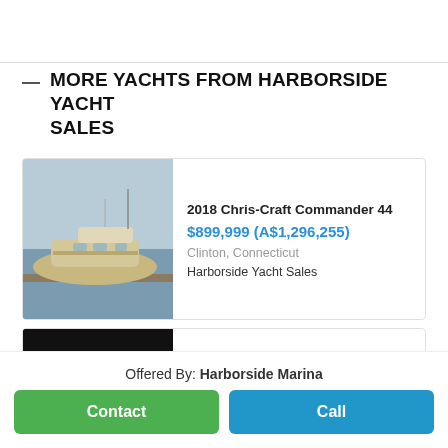MORE YACHTS FROM HARBORSIDE YACHT SALES
[Figure (photo): Photo of a 2018 Chris-Craft Commander 44 yacht docked at a marina, viewed from the side, overcast sky]
2018 Chris-Craft Commander 44
$899,999 (A$1,296,255)
Clinton, Connecticut
Harborside Yacht Sales
[Figure (photo): Photo of a 2023 Chris-Craft Launch 31 GT boat, aerial/front view, dark background]
2023 Chris-Craft Launch 31 GT
Call for Price
Offered By: Harborside Marina